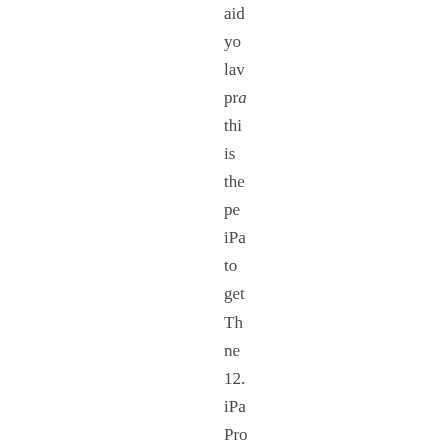aid you law pra thi is the pe iPa to get Th ne 12. iPa Pro wi its lar